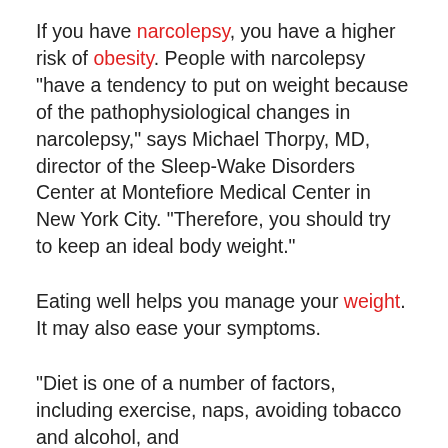If you have narcolepsy, you have a higher risk of obesity. People with narcolepsy "have a tendency to put on weight because of the pathophysiological changes in narcolepsy," says Michael Thorpy, MD, director of the Sleep-Wake Disorders Center at Montefiore Medical Center in New York City. "Therefore, you should try to keep an ideal body weight."
Eating well helps you manage your weight. It may also ease your symptoms.
"Diet is one of a number of factors, including exercise, naps, avoiding tobacco and alcohol, and